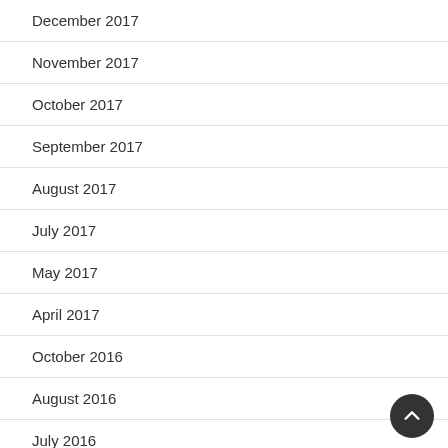December 2017
November 2017
October 2017
September 2017
August 2017
July 2017
May 2017
April 2017
October 2016
August 2016
July 2016
June 2016